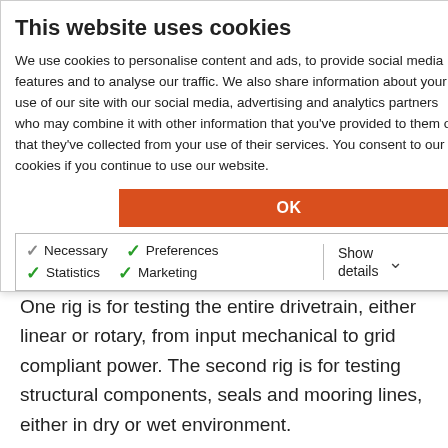This website uses cookies
We use cookies to personalise content and ads, to provide social media features and to analyse our traffic. We also share information about your use of our site with our social media, advertising and analytics partners who may combine it with other information that you've provided to them or that they've collected from your use of their services. You consent to our cookies if you continue to use our website.
OK
Necessary  Preferences  Statistics  Marketing  Show details
One rig is for testing the entire drivetrain, either linear or rotary, from input mechanical to grid compliant power. The second rig is for testing structural components, seals and mooring lines, either in dry or wet environment.
“The main objective of IMPACT is to design and manufacture two novel test rigs covering up to 75% of WEC sub-components that affect the WEC’s